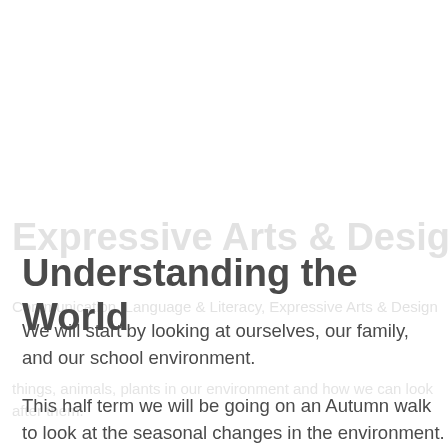Understanding the World
We will start by looking at ourselves, our family, and our school environment.
This half term we will be going on an Autumn walk to look at the seasonal changes in the environment. We will make our own Autumn page